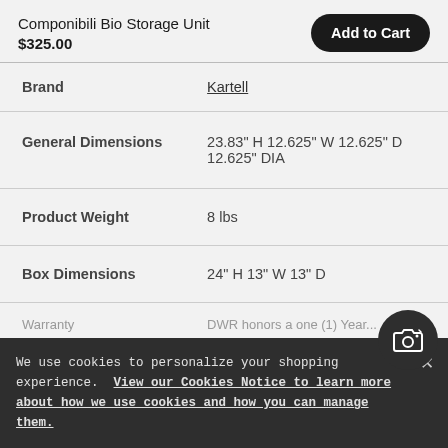Componibili Bio Storage Unit
$325.00
| Attribute | Value |
| --- | --- |
| Brand | Kartell |
| General Dimensions | 23.83" H 12.625" W 12.625" D 12.625" DIA |
| Product Weight | 8 lbs |
| Box Dimensions | 24" H 13" W 13" D |
| Warranty | DWR honors a one (1) Year... |
We use cookies to personalize your shopping experience. View our Cookies Notice to learn more about how we use cookies and how you can manage them.